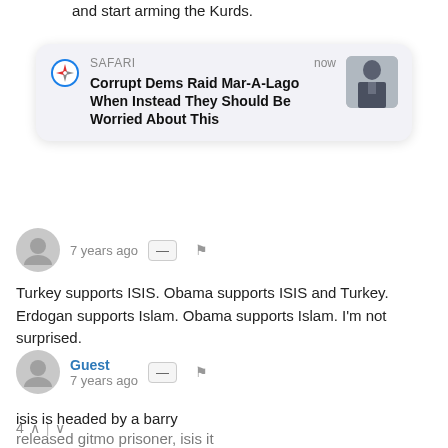and start arming the Kurds.
[Figure (screenshot): Safari browser notification card showing headline: 'Corrupt Dems Raid Mar-A-Lago When Instead They Should Be Worried About This', with timestamp 'now' and a thumbnail image of a person in a suit]
Turkey supports ISIS. Obama supports ISIS and Turkey. Erdogan supports Islam. Obama supports Islam. I'm not surprised.
4 ^ | v
Guest
7 years ago
isis is headed by a barry
released gitmo prisoner, isis it